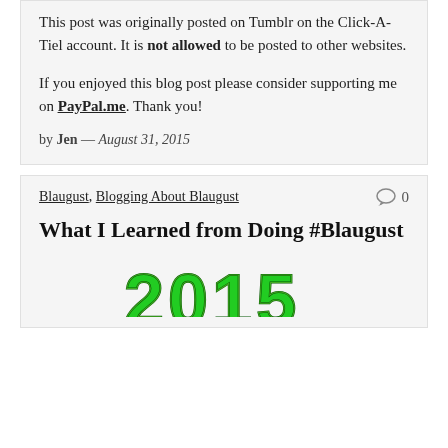This post was originally posted on Tumblr on the Click-A-Tiel account. It is not allowed to be posted to other websites.
If you enjoyed this blog post please consider supporting me on PayPal.me. Thank you!
by Jen — August 31, 2015
Blaugust, Blogging About Blaugust   0
What I Learned from Doing #Blaugust
[Figure (photo): Partial image of green text/numbers '2015' in decorative style, cropped at bottom of page]